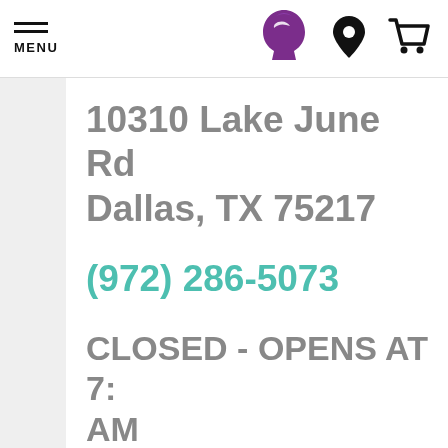MENU
[Figure (logo): Taco Bell logo - purple bell shape]
[Figure (other): Location pin icon]
[Figure (other): Shopping cart icon]
10310 Lake June Rd Dallas, TX 75217
(972) 286-5073
CLOSED - OPENS AT 7: AM